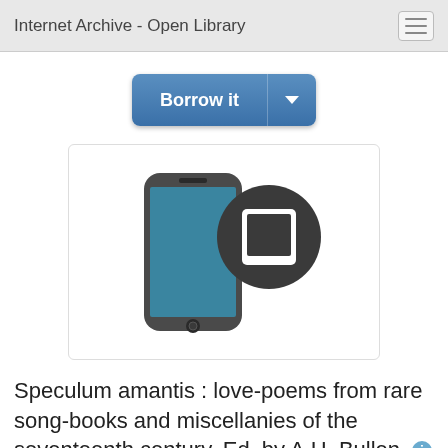Internet Archive - Open Library
[Figure (screenshot): Borrow it button with dropdown arrow, blue gradient styling]
[Figure (illustration): Smartphone device icon with overlapping tablet/e-reader icon in dark circle, displayed inside a white bordered box]
Speculum amantis : love-poems from rare song-books and miscellanies of the seventeenth century, Ed. by A.H. Bullen